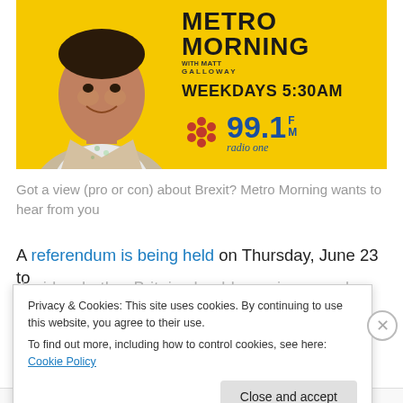[Figure (photo): Metro Morning CBC Radio advertisement banner with Matt Galloway. Yellow background. Left side shows a man in a beige blazer smiling. Right side shows text: METRO MORNING with MATT GALLOWAY, WEEKDAYS 5:30AM, CBC gem logo, 99.1 FM radio one.]
Got a view (pro or con) about Brexit? Metro Morning wants to hear from you
A referendum is being held on Thursday, June 23 to decide whether Britain should remain a member or the
Privacy & Cookies: This site uses cookies. By continuing to use this website, you agree to their use.
To find out more, including how to control cookies, see here: Cookie Policy
Close and accept